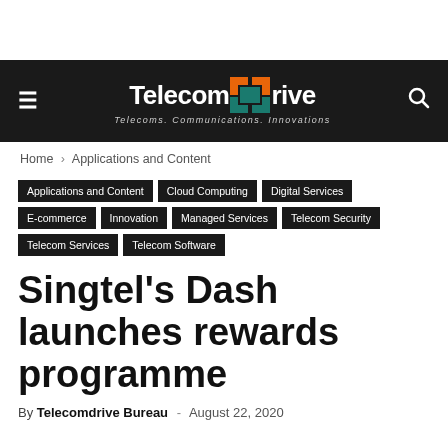TelecomDrive — Telecoms. Communications. Innovations.
Home › Applications and Content
Applications and Content
Cloud Computing
Digital Services
E-commerce
Innovation
Managed Services
Telecom Security
Telecom Services
Telecom Software
Singtel's Dash launches rewards programme
By Telecomdrive Bureau - August 22, 2020